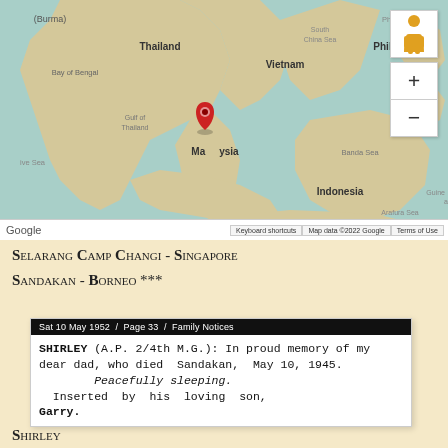[Figure (map): Google Maps showing Southeast Asia with two red location pins — one over Malaysia/Singapore area and one over Philippines area. Surrounding seas and countries labeled: Bay of Bengal, Thailand, Vietnam, Philippines, Malaysia, Indonesia, Banda Sea, Arafura Sea, Philippine Sea, South China Sea, Gulf of Thailand, (Burma). Google logo and map controls visible.]
Selarang Camp Changi - Singapore
Sandakan - Borneo ***
[Figure (screenshot): Newspaper clipping header: Sat 10 May 1952 / Page 33 / Family Notices. Body text: SHIRLEY (A.P. 2/4th M.G.): In proud memory of my dear dad, who died Sandakan, May 10, 1945. Peacefully sleeping. Inserted by his loving son, Garry.]
Shirley